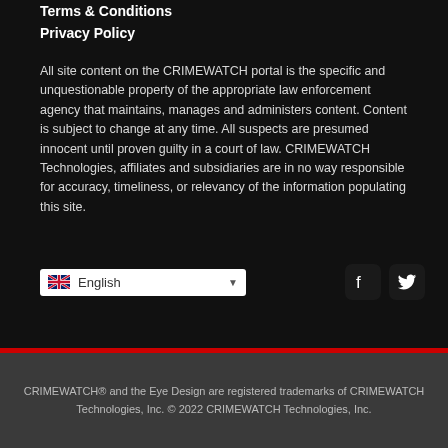Terms & Conditions
Privacy Policy
All site content on the CRIMEWATCH portal is the specific and unquestionable property of the appropriate law enforcement agency that maintains, manages and administers content. Content is subject to change at any time. All suspects are presumed innocent until proven guilty in a court of law. CRIMEWATCH Technologies, affiliates and subsidiaries are in no way responsible for accuracy, timeliness, or relevancy of the information populating this site.
[Figure (screenshot): Language selector dropdown showing English with UK flag, and social media buttons for Facebook and Twitter]
CRIMEWATCH® and the Eye Design are registered trademarks of CRIMEWATCH Technologies, Inc. © 2022 CRIMEWATCH Technologies, Inc.